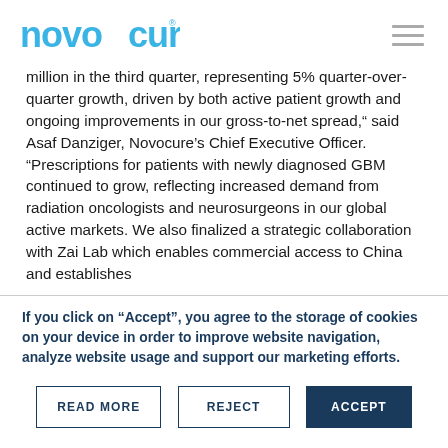Novocure logo and navigation
million in the third quarter, representing 5% quarter-over-quarter growth, driven by both active patient growth and ongoing improvements in our gross-to-net spread," said Asaf Danziger, Novocure's Chief Executive Officer. "Prescriptions for patients with newly diagnosed GBM continued to grow, reflecting increased demand from radiation oncologists and neurosurgeons in our global active markets. We also finalized a strategic collaboration with Zai Lab which enables commercial access to China and establishes
If you click on "Accept", you agree to the storage of cookies on your device in order to improve website navigation, analyze website usage and support our marketing efforts.
READ MORE
REJECT
ACCEPT